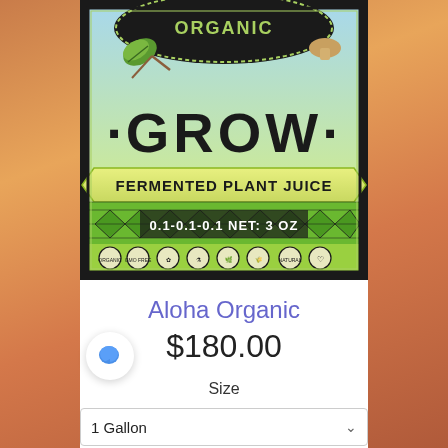[Figure (photo): Product label for Aloha Organic GROW Fermented Plant Juice 0.1-0.1-0.1 NET: 3 OZ, green label with decorative organic certification badges]
Aloha Organic
$180.00
Size
1 Gallon